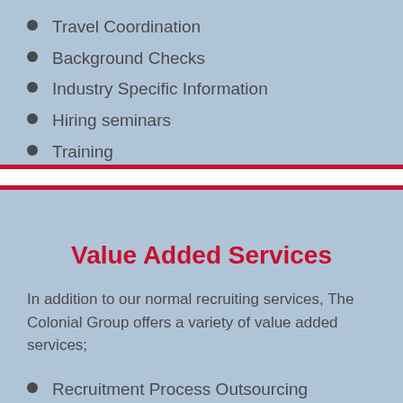Travel Coordination
Background Checks
Industry Specific Information
Hiring seminars
Training
Value Added Services
In addition to our normal recruiting services, The Colonial Group offers a variety of value added services;
Recruitment Process Outsourcing